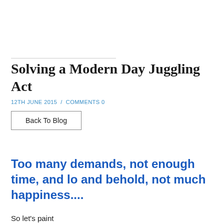Solving a Modern Day Juggling Act
12TH JUNE 2015  /  COMMENTS 0
Back To Blog
Too many demands, not enough time, and lo and behold, not much happiness....
So let's paint